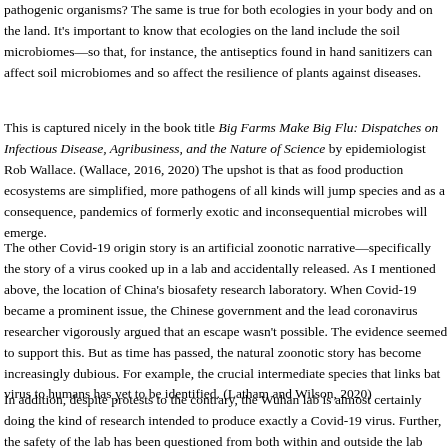pathogenic organisms? The same is true for both ecologies in your body and on the land. It's important to know that ecologies on the land include the soil microbiomes—so that, for instance, the antiseptics found in hand sanitizers can affect soil microbiomes and so affect the resilience of plants against diseases.
This is captured nicely in the book title Big Farms Make Big Flu: Dispatches on Infectious Disease, Agribusiness, and the Nature of Science by epidemiologist Rob Wallace. (Wallace, 2016, 2020) The upshot is that as food production ecosystems are simplified, more pathogens of all kinds will jump species and as a consequence, pandemics of formerly exotic and inconsequential microbes will emerge.
The other Covid-19 origin story is an artificial zoonotic narrative—specifically the story of a virus cooked up in a lab and accidentally released. As I mentioned above, the location of China's biosafety research laboratory. When Covid-19 became a prominent issue, the Chinese government and the lead coronavirus researcher vigorously argued that an escape wasn't possible. The evidence seemed to support this. But as time has passed, the natural zoonotic story has become increasingly dubious. For example, the crucial intermediate species that links bat virus to humans has yet to be identified. (Latham and Wilson, 2020)
In addition, despite protests to the contrary, the Wuhan lab is almost certainly doing the kind of research intended to produce exactly a Covid-19 virus. Further, the safety of the lab has been questioned from both within and outside the lab itself. The plausibility of an accidental escape is plausible not because it's China. The United States has the equivalent of the Wuhan lab in Manhattan, Kansas under the auspices of